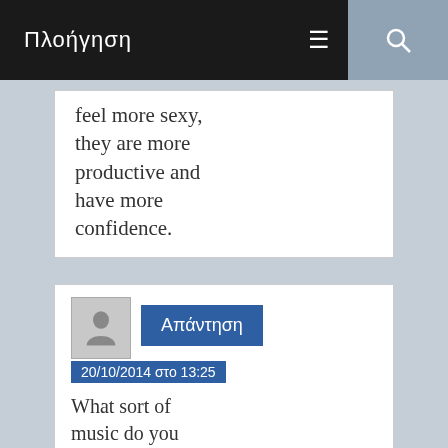Πλοήγηση
feel more sexy, they are more productive and have more confidence.
20/10/2014 στο 13:25
What sort of music do you like?
buy benoquin
The trading added $200 million on